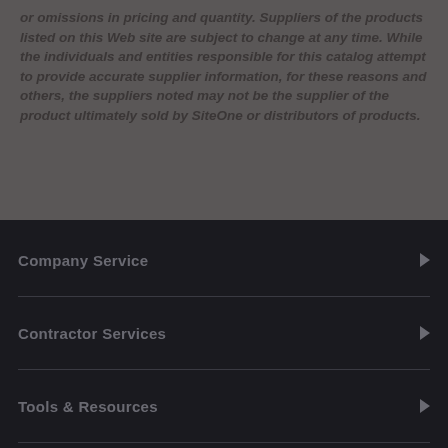or omissions in pricing and quantity. Suppliers of the products listed on this Web site are subject to change at any time. While the individuals and entities responsible for this catalog attempt to provide accurate supplier information, for these reasons and others, the suppliers noted may not be the supplier of the product ultimately sold by SiteOne or distributors of products.
Company Service
Contractor Services
Tools & Resources